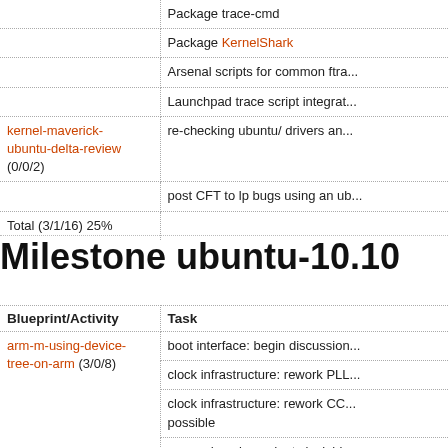| Blueprint/Activity | Task |
| --- | --- |
|  | Package trace-cmd |
|  | Package KernelShark |
|  | Arsenal scripts for common ftra... |
|  | Launchpad trace script integrat... |
| kernel-maverick-ubuntu-delta-review (0/0/2) | re-checking ubuntu/ drivers an... |
| kernel-maverick-ubuntu-delta-review (0/0/2) | post CFT to lp bugs using an ub... |
| Total (3/1/16) 25% |  |
Milestone ubuntu-10.10
| Blueprint/Activity | Task |
| --- | --- |
| arm-m-using-device-tree-on-arm (3/0/8) | boot interface: begin discussion... |
| arm-m-using-device-tree-on-arm (3/0/8) | clock infrastructure: rework PLL... |
| arm-m-using-device-tree-on-arm (3/0/8) | clock infrastructure: rework CC... possible |
| arm-m-using-device-tree-on-arm (3/0/8) | power domains: adapt clock bi... |
| arm-m-using-device-tree-on-arm (3/0/8) | power domains: propose bindin... |
| arm-m-using-device-tree-on-arm (3/0/8) | clock infrastructure: bring clock... |
| arm-m-using-device-tree-on-arm (3/0/8) | clock infrastructure: basic nd... |